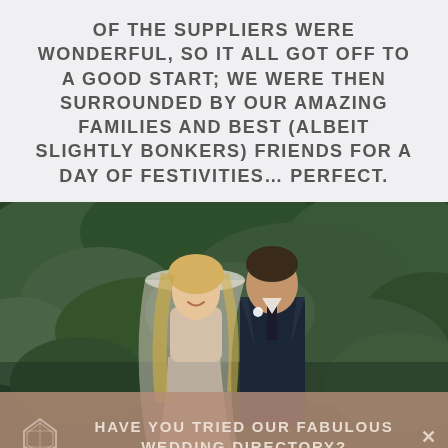OF THE SUPPLIERS WERE WONDERFUL, SO IT ALL GOT OFF TO A GOOD START; WE WERE THEN SURROUNDED BY OUR AMAZING FAMILIES AND BEST (ALBEIT SLIGHTLY BONKERS) FRIENDS FOR A DAY OF FESTIVITIES… PERFECT.
[Figure (photo): Wedding couple photo: a smiling bride with long blonde hair wearing a veil, and a groom in a dark suit with a white boutonniere, standing in front of a lush green hedge/foliage background.]
HAVE YOU TRIED OUR FABULOUS WEDDING DIRECTORY?